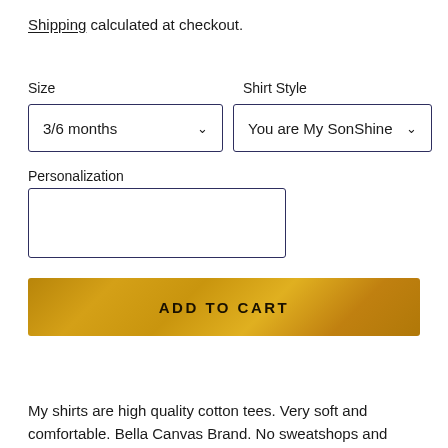Shipping calculated at checkout.
Size
Shirt Style
3/6 months
You are My SonShine
Personalization
ADD TO CART
My shirts are high quality cotton tees. Very soft and comfortable. Bella Canvas Brand. No sweatshops and